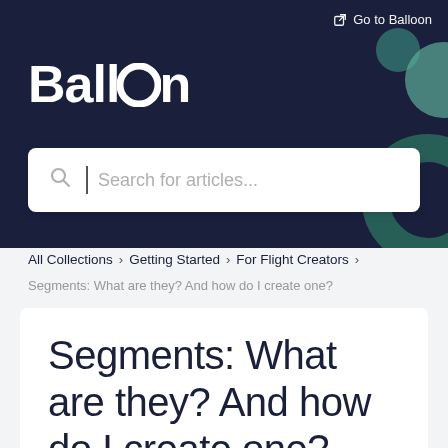Go to Balloon
Balloon
Search for articles...
All Collections > Getting Started > For Flight Creators >
Segments: What are they? And how do I create one?
Segments: What are they? And how do I create one?